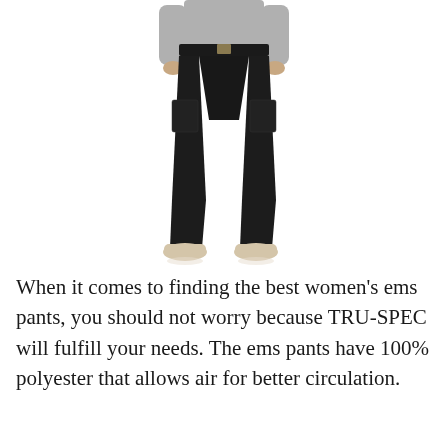[Figure (photo): A woman wearing black tactical/EMS cargo pants with a gray long-sleeve top and beige/tan sneakers, shown from the torso down, standing against a white background.]
When it comes to finding the best women's ems pants, you should not worry because TRU-SPEC will fulfill your needs. The ems pants have 100% polyester that allows air for better circulation.